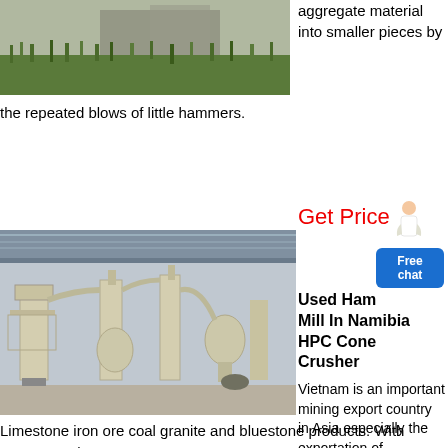[Figure (photo): Outdoor industrial site with overgrown grass and building structure in background]
aggregate material into smaller pieces by
the repeated blows of little hammers.
[Figure (photo): Industrial hammer mill equipment inside a large warehouse with metal roof]
Get Price
Free chat
Used Hammer Mill In Namibia HPC Cone Crusher
Vietnam is an important mining export country in Asia especially the exportation of
Limestone iron ore coal granite and bluestone products. With many years'